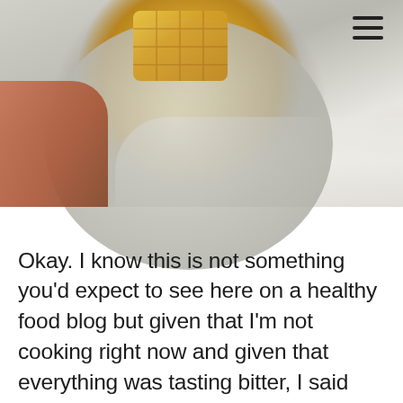[Figure (photo): A hand holding a light gray plate with a golden-yellow Eggo waffle on it, resting on a white fluffy textured surface. A hamburger menu icon (three horizontal lines) is visible in the upper right corner.]
Okay. I know this is not something you'd expect to see here on a healthy food blog but given that I'm not cooking right now and given that everything was tasting bitter, I said screw it I'm sick and I asked Sam to toast me an Eggo waffle. I've had a weird craving for one ever